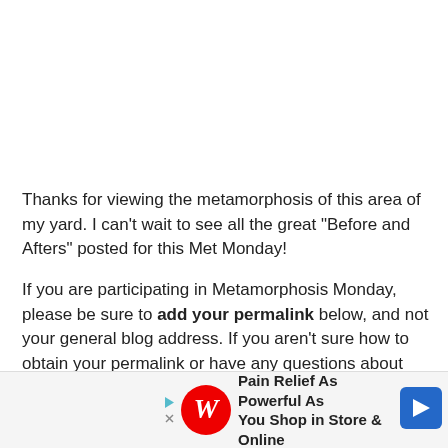Thanks for viewing the metamorphosis of this area of my yard.  I can’t wait to see all the great “Before and Afters” posted for this Met Monday!
If you are participating in Metamorphosis Monday, please be sure to add your permalink below, and not your general blog address. If you aren’t sure how to obtain your permalink or have any questions about using
Mr. Link… Monday…
[Figure (other): Advertisement banner at the bottom: Walgreens ad reading 'Pain Relief As Powerful As You Shop in Store & Online' with Walgreens script logo and blue navigation arrow icon. Play and close buttons visible on left edge.]